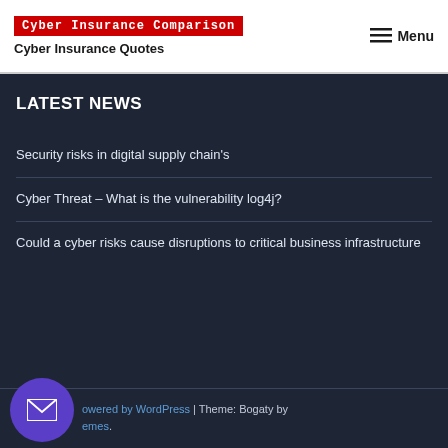Cyber Insurance Comparison | Cyber Insurance Quotes | Menu
LATEST NEWS
Security risks in digital supply chain's
Cyber Threat – What is the vulnerability log4j?
Could a cyber risks cause disruptions to critical business infrastructure
Powered by WordPress | Theme: Bogaty by Themes.